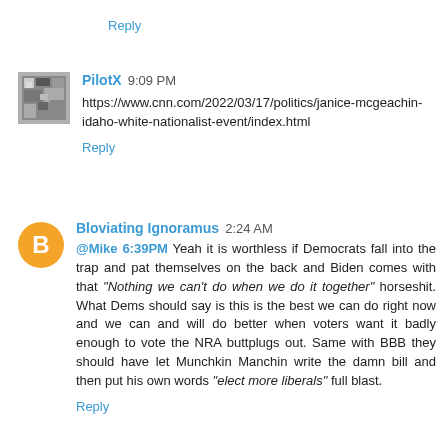Reply
PilotX 9:09 PM
https://www.cnn.com/2022/03/17/politics/janice-mcgeachin-idaho-white-nationalist-event/index.html
Reply
Bloviating Ignoramus 2:24 AM
@Mike 6:39PM Yeah it is worthless if Democrats fall into the trap and pat themselves on the back and Biden comes with that "Nothing we can't do when we do it together" horseshit. What Dems should say is this is the best we can do right now and we can and will do better when voters want it badly enough to vote the NRA buttplugs out. Same with BBB they should have let Munchkin Manchin write the damn bill and then put his own words "elect more liberals" full blast.
Reply